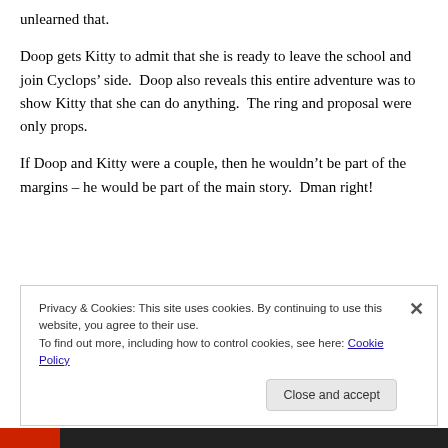unlearned that.
Doop gets Kitty to admit that she is ready to leave the school and join Cyclops’ side.  Doop also reveals this entire adventure was to show Kitty that she can do anything.  The ring and proposal were only props.
If Doop and Kitty were a couple, then he wouldn’t be part of the margins – he would be part of the main story.  Dman right!
Privacy & Cookies: This site uses cookies. By continuing to use this website, you agree to their use.
To find out more, including how to control cookies, see here: Cookie Policy
Close and accept